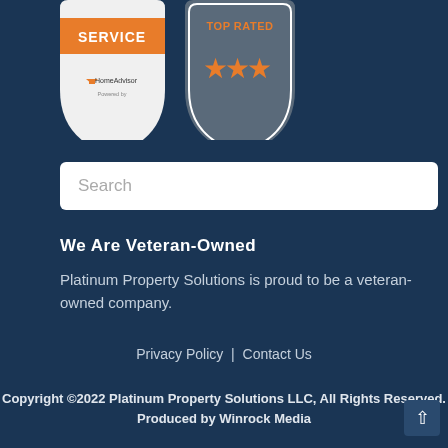[Figure (logo): HomeAdvisor 'SERVICE' badge and 'TOP RATED' badge with orange stars on dark gray shield]
Search
We Are Veteran-Owned
Platinum Property Solutions is proud to be a veteran-owned company.
Privacy Policy | Contact Us
Copyright ©2022 Platinum Property Solutions LLC, All Rights Reserved.
Produced by Winrock Media